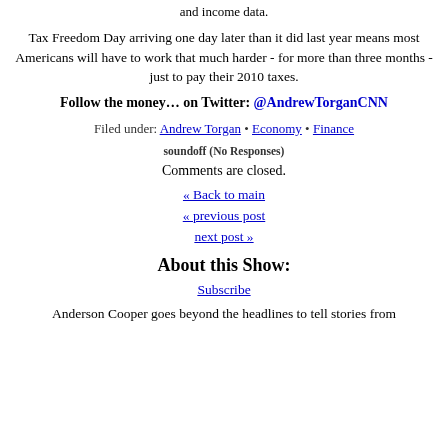and income data.
Tax Freedom Day arriving one day later than it did last year means most Americans will have to work that much harder - for more than three months - just to pay their 2010 taxes.
Follow the money… on Twitter: @AndrewTorganCNN
Filed under: Andrew Torgan • Economy • Finance
soundoff (No Responses)
Comments are closed.
« Back to main
« previous post
next post »
About this Show:
Subscribe
Anderson Cooper goes beyond the headlines to tell stories from